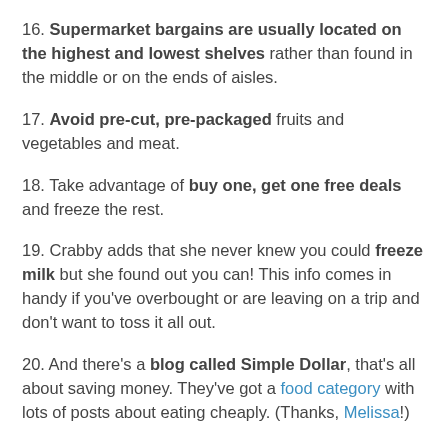16. Supermarket bargains are usually located on the highest and lowest shelves rather than found in the middle or on the ends of aisles.
17. Avoid pre-cut, pre-packaged fruits and vegetables and meat.
18. Take advantage of buy one, get one free deals and freeze the rest.
19. Crabby adds that she never knew you could freeze milk but she found out you can! This info comes in handy if you've overbought or are leaving on a trip and don't want to toss it all out.
20. And there's a blog called Simple Dollar, that's all about saving money. They've got a food category with lots of posts about eating cheaply. (Thanks, Melissa!)
21. Mark's Daily Apple also has recommendations for eating healthy on a budget. For example, even the anti-processing